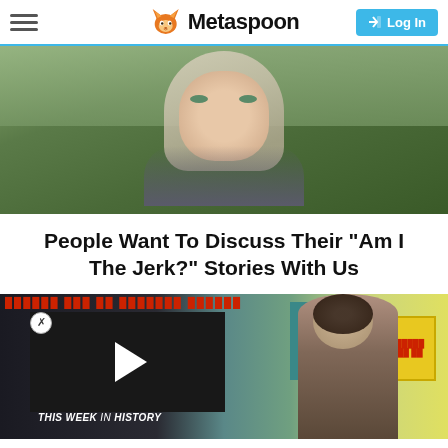Metaspoon — Log In
[Figure (photo): Young blonde woman outdoors with green foliage background, wearing grey sweater]
People Want To Discuss Their "Am I The Jerk?" Stories With Us
[Figure (screenshot): Video player overlay showing 'THIS WEEK IN HISTORY' with play button, overlaid on a classroom background scene with yellow sign and teal board]